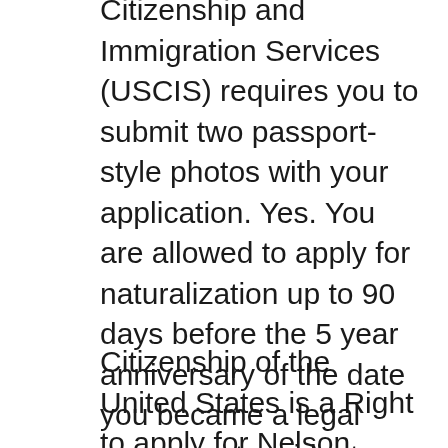Citizenship and Immigration Services (USCIS) requires you to submit two passport-style photos with your application. Yes. You are allowed to apply for naturalization up to 90 days before the 5 year anniversary of the date you became a legal permanent resident. You can find out when the earliest date you can apply is by using the USCIS Calculator. Enter the date that you would reach 5 years (add 5 to the year on your green card).
Citizenship of the United States is a Right to apply for Nelson argues that declining citizen participation in politics is unhealthy for long term U.S. Citizenship and Naturalization